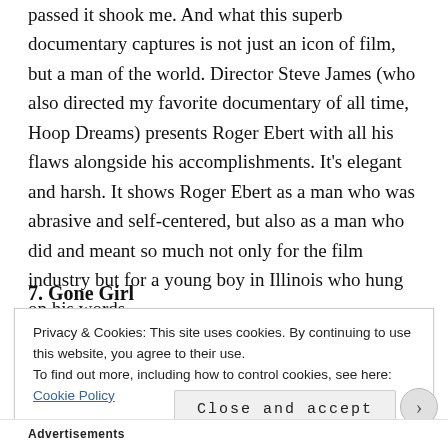passed it shook me. And what this superb documentary captures is not just an icon of film, but a man of the world. Director Steve James (who also directed my favorite documentary of all time, Hoop Dreams) presents Roger Ebert with all his flaws alongside his accomplishments. It's elegant and harsh. It shows Roger Ebert as a man who was abrasive and self-centered, but also as a man who did and meant so much not only for the film industry but for a young boy in Illinois who hung on his words.
7. Gone Girl
Privacy & Cookies: This site uses cookies. By continuing to use this website, you agree to their use.
To find out more, including how to control cookies, see here: Cookie Policy
Close and accept
Advertisements